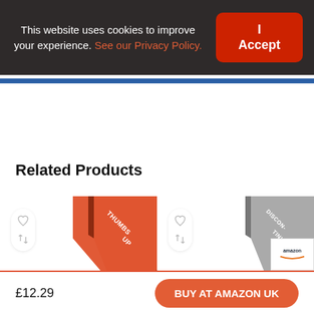This website uses cookies to improve your experience. See our Privacy Policy.
I Accept
Related Products
[Figure (infographic): Product card with heart/compare icons and THUMBS UP ribbon badge in orange-red]
[Figure (infographic): Product card with heart/compare icons and DISCONTINUED ribbon badge in grey]
£12.29
BUY AT AMAZON UK